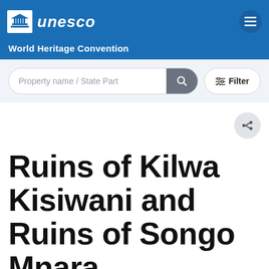UNESCO World Heritage Convention
Property name / State Part [search input] Filter
Ruins of Kilwa Kisiwani and Ruins of Songo Mnara
United Republic of Tanzania